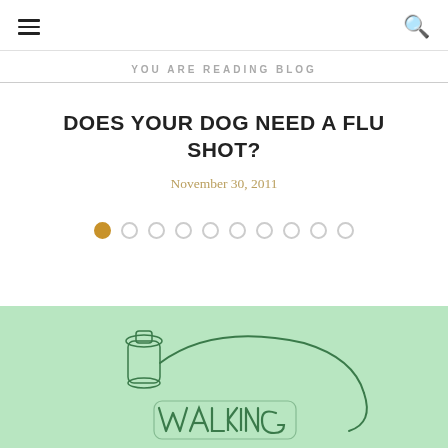☰   🔍
YOU ARE READING BLOG
DOES YOUR DOG NEED A FLU SHOT?
November 30, 2011
[Figure (other): Carousel pagination dots: 10 dots with the first one filled/active in gold and the rest empty/outlined]
[Figure (logo): Walking logo on a light green background — outline illustration of a dog leash bottle with stylized text WALKING]